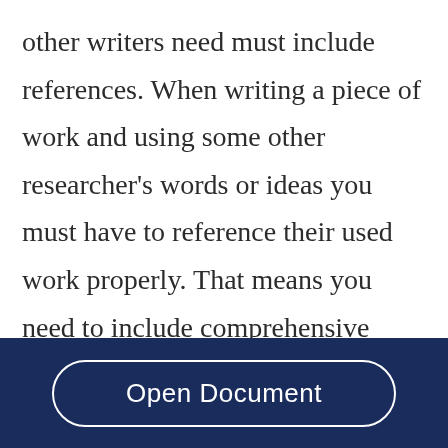other writers need must include references. When writing a piece of work and using some other researcher's words or ideas you must have to reference their used work properly. That means you need to include comprehensive information on all sources consulted mutually within your written text and at the end of your research work. For research work referencing is very important to successful research. Referencing helps the reader to find the original source if they want to get in detail. It
Open Document